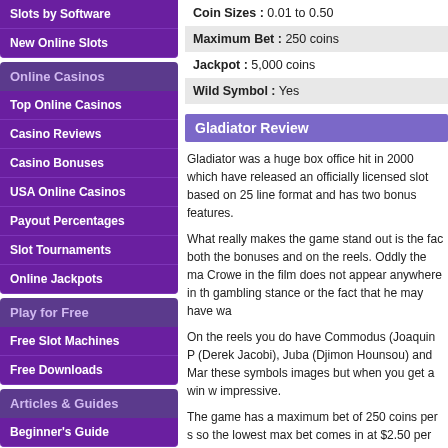Slots by Software
New Online Slots
Online Casinos
Top Online Casinos
Casino Reviews
Casino Bonuses
USA Online Casinos
Payout Percentages
Slot Tournaments
Online Jackpots
Play for Free
Free Slot Machines
Free Downloads
Articles & Guides
Beginner's Guide
Coin Sizes : 0.01 to 0.50
Maximum Bet : 250 coins
Jackpot : 5,000 coins
Wild Symbol : Yes
Gladiator Review
Gladiator was a huge box office hit in 2000 which have released an officially licensed slot based on 25 line format and has two bonus features.
What really makes the game stand out is the fact that both the bonuses and on the reels. Oddly the ma Crowe in the film does not appear anywhere in the gambling stance or the fact that he may have wa
On the reels you do have Commodus (Joaquin P (Derek Jacobi), Juba (Djimon Hounsou) and Mar these symbols images but when you get a win w impressive.
The game has a maximum bet of 250 coins per s so the lowest max bet comes in at $2.50 per gam will not miss out on any features. Of course the b